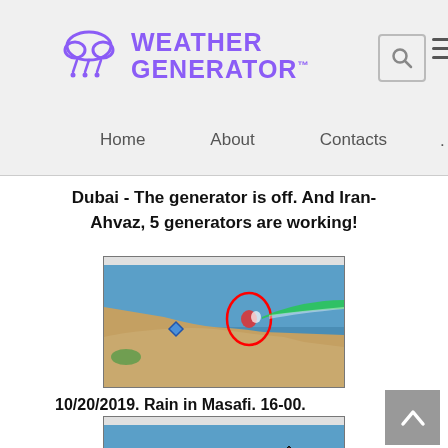WEATHER GENERATOR
Home    About    Contacts
Dubai - The generator is off. And Iran-Ahvaz, 5 generators are working!
[Figure (screenshot): Weather radar map screenshot showing UAE and Iran region with a red circled storm cell near Dubai/Hormuz area and a green radar beam extending eastward over the sea]
10/20/2019. Rain in Masafi. 16-00.
[Figure (screenshot): Weather radar map screenshot showing UAE coastline with a red circled storm cell near Masafi area and green radar return extending eastward]